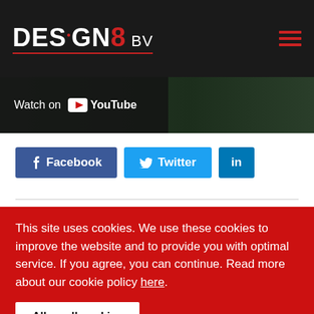[Figure (logo): DESIGN8 bv logo in white and red on dark background, with hamburger menu icon]
[Figure (screenshot): YouTube 'Watch on YouTube' button on dark video background]
[Figure (infographic): Social share buttons: Facebook, Twitter, LinkedIn]
This site uses cookies. We use these cookies to improve the website and to provide you with optimal service. If you agree, you can continue. Read more about our cookie policy here.
Allow all cookies